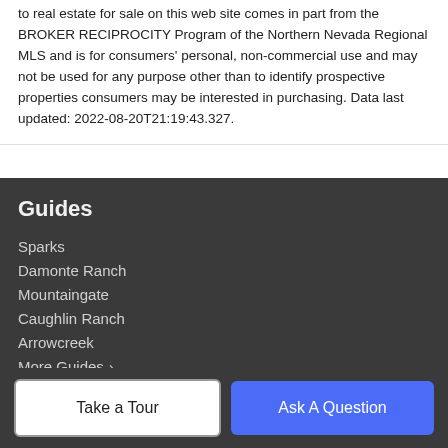to real estate for sale on this web site comes in part from the BROKER RECIPROCITY Program of the Northern Nevada Regional MLS and is for consumers' personal, non-commercial use and may not be used for any purpose other than to identify prospective properties consumers may be interested in purchasing. Data last updated: 2022-08-20T21:19:43.327.
Guides
Sparks
Damonte Ranch
Mountaingate
Caughlin Ranch
Arrowcreek
More Guides >
Company
Take a Tour
Ask A Question